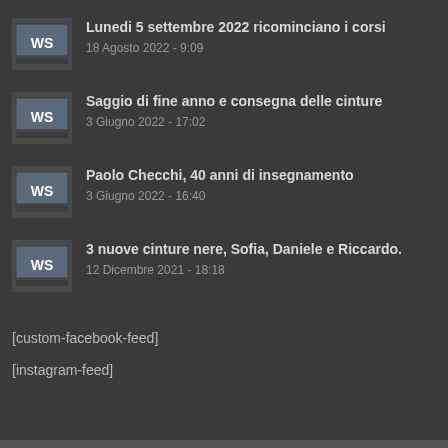Lunedi 5 settembre 2022 ricominciano i corsi
18 Agosto 2022 - 9:09
Saggio di fine anno e consegna delle cinture
3 Giugno 2022 - 17:02
Paolo Checchi, 40 anni di insegnamento
3 Giugno 2022 - 16:40
3 nuove cinture nere, Sofia, Daniele e Riccardo.
12 Dicembre 2021 - 18:18
[custom-facebook-feed]
[instagram-feed]